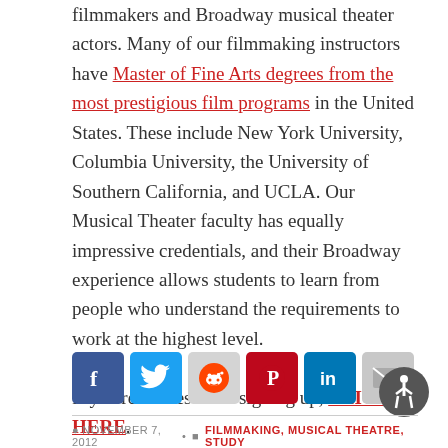filmmakers and Broadway musical theater actors. Many of our filmmaking instructors have Master of Fine Arts degrees from the most prestigious film programs in the United States. These include New York University, Columbia University, the University of Southern California, and UCLA. Our Musical Theater faculty has equally impressive credentials, and their Broadway experience allows students to learn from people who understand the requirements to work at the highest level.
If you're interested in signing up, CLICK HERE.
[Figure (other): Social media sharing icons: Facebook, Twitter, Reddit, Pinterest, LinkedIn, Email]
NOVEMBER 7, 2012 • FILMMAKING, MUSICAL THEATRE, STUDY